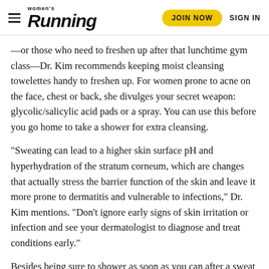Women's Running | JOIN NOW | SIGN IN
—or those who need to freshen up after that lunchtime gym class—Dr. Kim recommends keeping moist cleansing towelettes handy to freshen up. For women prone to acne on the face, chest or back, she divulges your secret weapon: glycolic/salicylic acid pads or a spray. You can use this before you go home to take a shower for extra cleansing.
“Sweating can lead to a higher skin surface pH and hyperhydration of the stratum corneum, which are changes that actually stress the barrier function of the skin and leave it more prone to dermatitis and vulnerable to infections,” Dr. Kim mentions. “Don’t ignore early signs of skin irritation or infection and see your dermatologist to diagnose and treat conditions early.”
Besides being sure to shower as soon as you can after a sweat